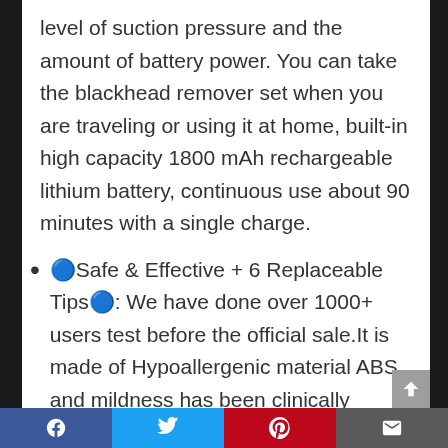level of suction pressure and the amount of battery power. You can take the blackhead remover set when you are traveling or using it at home, built-in high capacity 1800 mAh rechargeable lithium battery, continuous use about 90 minutes with a single charge.
🔵Safe & Effective + 6 Replaceable Tips🔵: We have done over 1000+ users test before the official sale.It is made of Hypoallergenic material ABS and mildness has been clinically tested to make sure you feel safe using our beauty...
Facebook | Twitter | Pinterest | Email